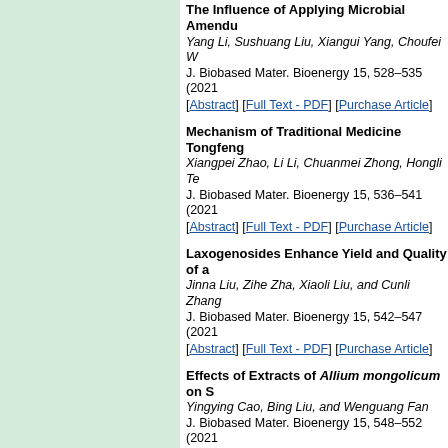The Influence of Applying Microbial Amendments... Yang Li, Sushuang Liu, Xiangui Yang, Choufei W... J. Biobased Mater. Bioenergy 15, 528-535 (2021) [Abstract] [Full Text - PDF] [Purchase Article]
Mechanism of Traditional Medicine Tongfeng... Xiangpei Zhao, Li Li, Chuanmei Zhong, Hongli Te... J. Biobased Mater. Bioenergy 15, 536-541 (2021) [Abstract] [Full Text - PDF] [Purchase Article]
Laxogenosides Enhance Yield and Quality of... Jinna Liu, Zihe Zha, Xiaoli Liu, and Cunli Zhang... J. Biobased Mater. Bioenergy 15, 542-547 (2021) [Abstract] [Full Text - PDF] [Purchase Article]
Effects of Extracts of Allium mongolicum on S... Yingying Cao, Bing Liu, and Wenguang Fan J. Biobased Mater. Bioenergy 15, 548-552 (2021) [Abstract] [Full Text - PDF] [Purchase Article]
Effects of Drought and Salt Stress on Activities... Alfalfa (Medicago sativa L.) Seedlings Zhifeng Chen, Haifeng Guo, Changling Sui, Zhixi... J. Biobased Mater. Bioenergy 15, 553-558 (2021) [Abstract] [Full Text - PDF] [Purchase Article]
Effects of Planting Density of Spring Soybean... Xiaomin Hou, Cong Wang, and Shoukun Dong J. Biobased Mater. Bioenergy 15, 559-564 (2021) [Abstract] [Full Text - PDF] [Purchase Article]
Effects of Dietary Addition of Linseed Oil on th... Suhu Duan, Zaiqiang Li, Zhenzhen Fan, Mengran... J. Biobased Mater. Bioenergy 15, 565-570 (2021)